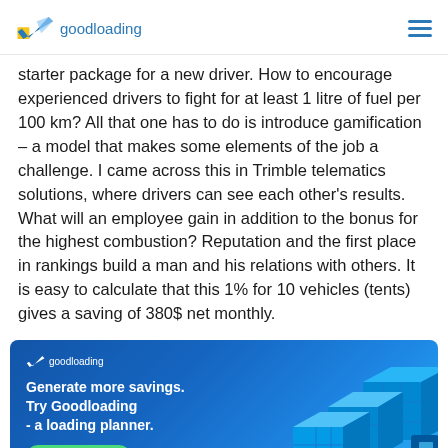goodloading
starter package for a new driver. How to encourage experienced drivers to fight for at least 1 litre of fuel per 100 km? All that one has to do is introduce gamification – a model that makes some elements of the job a challenge. I came across this in Trimble telematics solutions, where drivers can see each other's results. What will an employee gain in addition to the bonus for the highest combustion? Reputation and the first place in rankings build a man and his relations with others. It is easy to calculate that this 1% for 10 vehicles (tents) gives a saving of 380$ net monthly.
[Figure (illustration): Goodloading advertisement banner with blue gradient background, 3D cargo boxes illustration on the right, logo checkmark and 'goodloading' text, headline 'Generate more savings. Try Goodloading - a loading planner.' and green 'Check it out' button.]